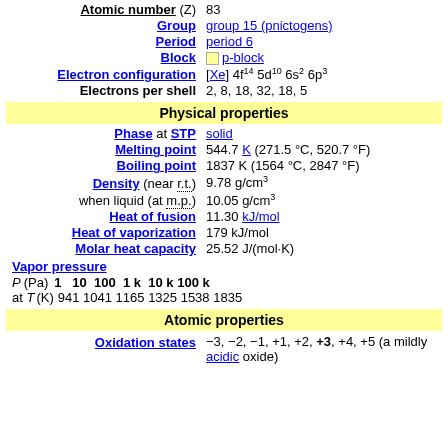| Property | Value |
| --- | --- |
| Atomic number (Z) | 83 |
| Group | group 15 (pnictogens) |
| Period | period 6 |
| Block | p-block |
| Electron configuration | [Xe] 4f14 5d10 6s2 6p3 |
| Electrons per shell | 2, 8, 18, 32, 18, 5 |
Physical properties
| Property | Value |
| --- | --- |
| Phase at STP | solid |
| Melting point | 544.7 K (271.5 °C, 520.7 °F) |
| Boiling point | 1837 K (1564 °C, 2847 °F) |
| Density (near r.t.) | 9.78 g/cm3 |
| when liquid (at m.p.) | 10.05 g/cm3 |
| Heat of fusion | 11.30 kJ/mol |
| Heat of vaporization | 179 kJ/mol |
| Molar heat capacity | 25.52 J/(mol·K) |
Vapor pressure
P (Pa) 1 10 100 1 k 10 k 100 k
at T (K) 941 1041 1165 1325 1538 1835
Atomic properties
Oxidation states: −3, −2, −1, +1, +2, +3, +4, +5 (a mildly acidic oxide)